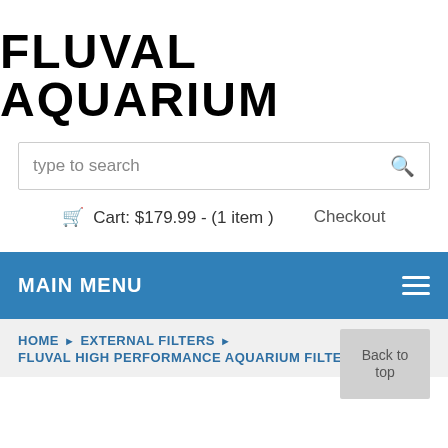FLUVAL AQUARIUM
type to search
Cart: $179.99 - (1 item )   Checkout
MAIN MENU
HOME ▶ EXTERNAL FILTERS ▶ FLUVAL HIGH PERFORMANCE AQUARIUM FILTER
Back to top